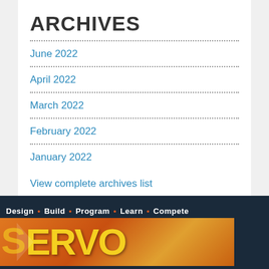ARCHIVES
June 2022
April 2022
March 2022
February 2022
January 2022
View complete archives list
[Figure (illustration): Servo Magazine advertisement banner showing 'Design · Build · Program · Learn · Compete' tagline on dark background with orange SERVO logo text]